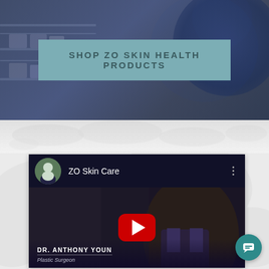[Figure (screenshot): Dark blue banner background with circular decorative element in top right, showing a teal/muted button labeled SHOP ZO SKIN HEALTH PRODUCTS centered in the upper portion of the page]
SHOP ZO SKIN HEALTH PRODUCTS
[Figure (screenshot): YouTube video embed showing ZO Skin Care channel. Header shows a circular avatar photo of a doctor in a suit, channel name 'ZO Skin Care', and three-dot menu. The video thumbnail shows Dr. Anthony Youn speaking, with a red YouTube play button overlay. Bottom caption reads DR. ANTHONY YOUN / Plastic Surgeon. A teal chat bubble icon appears in the bottom right.]